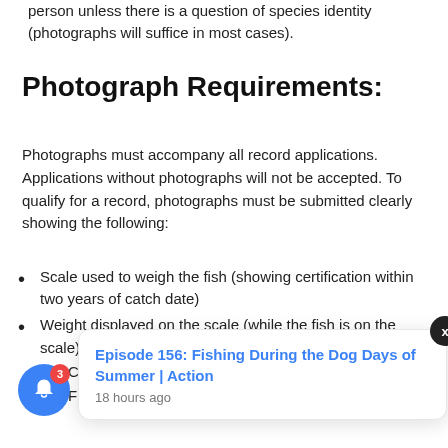person unless there is a question of species identity (photographs will suffice in most cases).
Photograph Requirements:
Photographs must accompany all record applications. Applications without photographs will not be accepted. To qualify for a record, photographs must be submitted clearly showing the following:
Scale used to weigh the fish (showing certification within two years of catch date)
Weight displayed on the scale (while the fish is on the scale)
Close-up showing the weight displayed on the scale
Full-length v... ale
Rod and reel used to make the catch